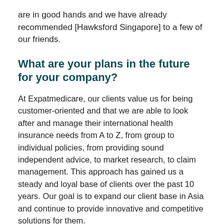are in good hands and we have already recommended [Hawksford Singapore] to a few of our friends.
What are your plans in the future for your company?
At Expatmedicare, our clients value us for being customer-oriented and that we are able to look after and manage their international health insurance needs from A to Z, from group to individual policies, from providing sound independent advice, to market research, to claim management. This approach has gained us a steady and loyal base of clients over the past 10 years. Our goal is to expand our client base in Asia and continue to provide innovative and competitive solutions for them.